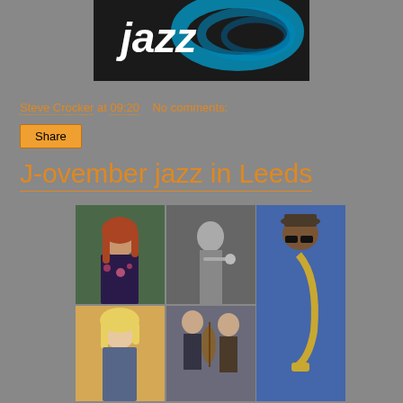[Figure (logo): Jazz logo with stylized blue swirl on dark background with white 'jazz' text]
Steve Crocker at 09:20    No comments:
Share
J-ovember jazz in Leeds
[Figure (photo): Collage of jazz musician photos: woman with long red hair in floral dress, black and white photo of man playing trumpet, man with hat and sunglasses playing saxophone, woman with blonde hair, two people playing bass/cello]